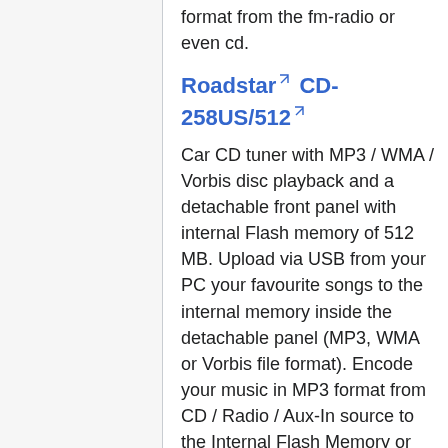format from the fm-radio or even cd.
Roadstar CD-258US/512
Car CD tuner with MP3 / WMA / Vorbis disc playback and a detachable front panel with internal Flash memory of 512 MB. Upload via USB from your PC your favourite songs to the internal memory inside the detachable panel (MP3, WMA or Vorbis file format). Encode your music in MP3 format from CD / Radio / Aux-In source to the Internal Flash Memory or USB / SD / MMC. Transfer your favourite MP3 / WMA / Vorbis files between CD disc / Internal Flash Memory / USB / SD / MMC. It displays no ID3 info on Ogg files, but it constantly displays stats and